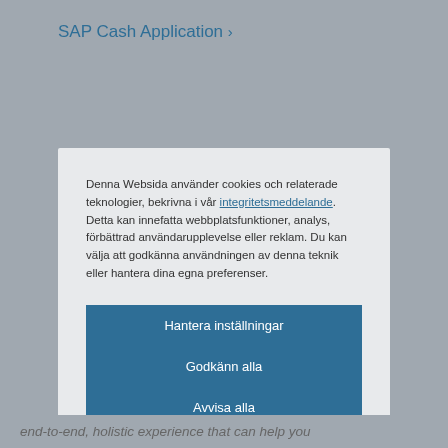SAP Cash Application ›
Denna Websida använder cookies och relaterade teknologier, bekrivna i vår integritetsmeddelande. Detta kan innefatta webbplatsfunktioner, analys, förbättrad användarupplevelse eller reklam. Du kan välja att godkänna användningen av denna teknik eller hantera dina egna preferenser.
Hantera inställningar
Godkänn alla
Avvisa alla
Cookieförklaring
end-to-end, holistic experience that can help you